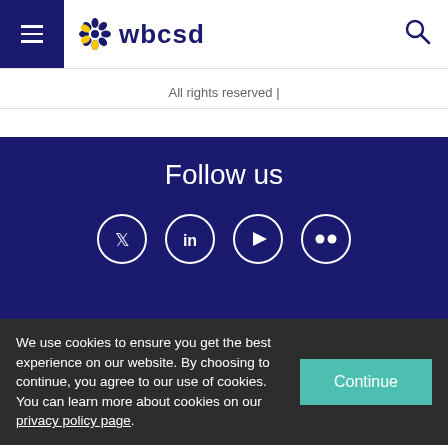wbcsd
All rights reserved |
Follow us
[Figure (illustration): Four social media icons in white circles on dark blue background: Twitter, LinkedIn, YouTube, Flickr]
We use cookies to ensure you get the best experience on our website. By choosing to continue, you agree to our use of cookies. You can learn more about cookies on our privacy policy page.